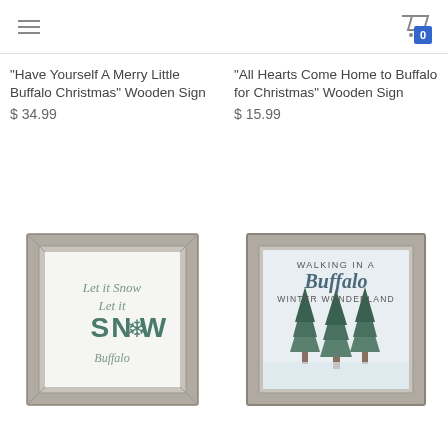Navigation menu | Cart 0
"Have Yourself A Merry Little Buffalo Christmas" Wooden Sign
$ 34.99
"All Hearts Come Home to Buffalo for Christmas" Wooden Sign
$ 15.99
[Figure (photo): Framed wooden sign reading 'Let it Snow Let it SNOW Buffalo' with snowflake design, gray wood frame]
[Figure (photo): Framed wooden sign reading 'Walking in a Buffalo Winter Wonderland' with snowy pine trees illustration, gray wood frame]